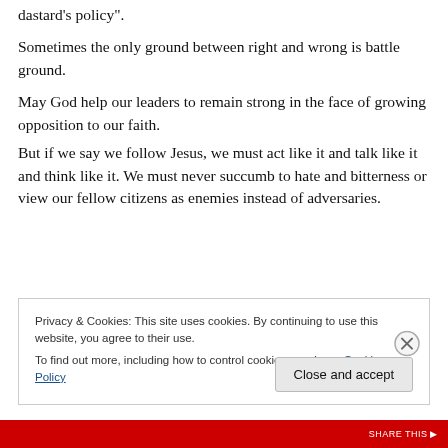dastard's policy".
Sometimes the only ground between right and wrong is battle ground.
May God help our leaders to remain strong in the face of growing opposition to our faith.
But if we say we follow Jesus, we must act like it and talk like it and think like it. We must never succumb to hate and bitterness or view our fellow citizens as enemies instead of adversaries.
Privacy & Cookies: This site uses cookies. By continuing to use this website, you agree to their use.
To find out more, including how to control cookies, see here: Cookie Policy
Close and accept